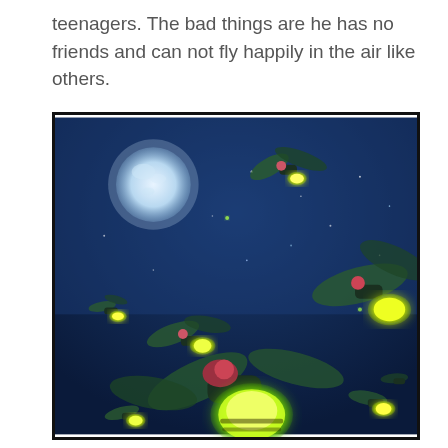teenagers. The bad things are he has no friends and can not fly happily in the air like others.
[Figure (illustration): An illustrated night scene with multiple glowing fireflies (lightning bugs) flying in a dark blue sky. A bright full moon is visible in the upper left. The fireflies have dark green wings and large glowing yellow-green abdomens. The scene is painted in a vivid, stylized art style.]